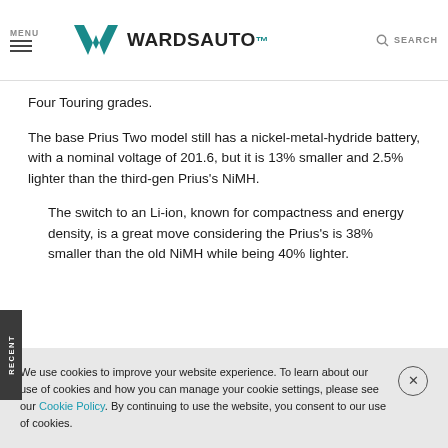MENU | WARDSAUTO | SEARCH
Four Touring grades.
The base Prius Two model still has a nickel-metal-hydride battery, with a nominal voltage of 201.6, but it is 13% smaller and 2.5% lighter than the third-gen Prius's NiMH.
The switch to an Li-ion, known for compactness and energy density, is a great move considering the Prius's is 38% smaller than the old NiMH while being 40% lighter.
We use cookies to improve your website experience. To learn about our use of cookies and how you can manage your cookie settings, please see our Cookie Policy. By continuing to use the website, you consent to our use of cookies.